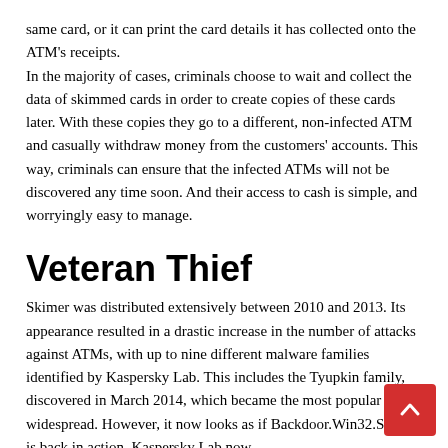same card, or it can print the card details it has collected onto the ATM's receipts.
In the majority of cases, criminals choose to wait and collect the data of skimmed cards in order to create copies of these cards later. With these copies they go to a different, non-infected ATM and casually withdraw money from the customers' accounts. This way, criminals can ensure that the infected ATMs will not be discovered any time soon. And their access to cash is simple, and worryingly easy to manage.
Veteran Thief
Skimer was distributed extensively between 2010 and 2013. Its appearance resulted in a drastic increase in the number of attacks against ATMs, with up to nine different malware families identified by Kaspersky Lab. This includes the Tyupkin family, discovered in March 2014, which became the most popular and widespread. However, it now looks as if Backdoor.Win32.Skimer is back in action. Kaspersky Lab now